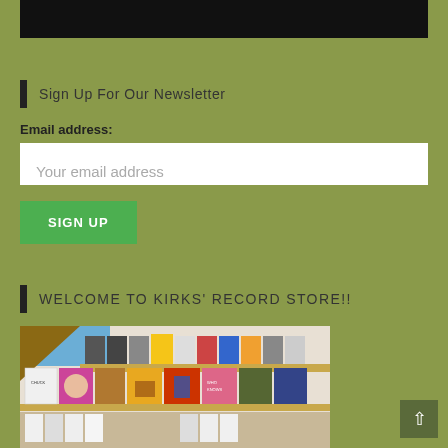[Figure (photo): Dark/black image at the top of the page, partially visible]
Sign Up For Our Newsletter
Email address:
Your email address
SIGN UP
WELCOME TO KIRKS' RECORD STORE!!
[Figure (photo): Interior of a record store showing shelves with vinyl records displayed, including various album covers on wall-mounted ledge shelves]